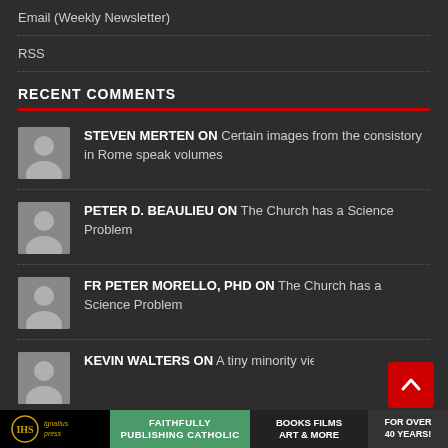Email (Weekly Newsletter)
RSS
RECENT COMMENTS
STEVEN MERTEN ON Certain images from the consistory in Rome speak volumes
PETER D. BEAULIEU ON The Church has a Science Problem
FR PETER MORELLO, PHD ON The Church has a Science Problem
KEVIN WALTERS ON A tiny minority view on Ukrain
Ignatius Press | FAITHFULLY PUBLISHING CATHOLIC | BOOKS FILMS ART & MORE | FOR OVER 40 YEARS!